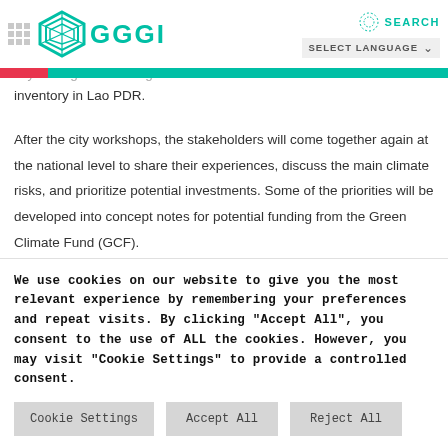GGGI — with officials in each city to identify their climate risks and vulnerabilities and reduce these risks. Will also complete the first city-level greenhouse gas inventory in Lao PDR.
After the city workshops, the stakeholders will come together again at the national level to share their experiences, discuss the main climate risks, and prioritize potential investments. Some of the priorities will be developed into concept notes for potential funding from the Green Climate Fund (GCF).
We use cookies on our website to give you the most relevant experience by remembering your preferences and repeat visits. By clicking "Accept All", you consent to the use of ALL the cookies. However, you may visit "Cookie Settings" to provide a controlled consent.